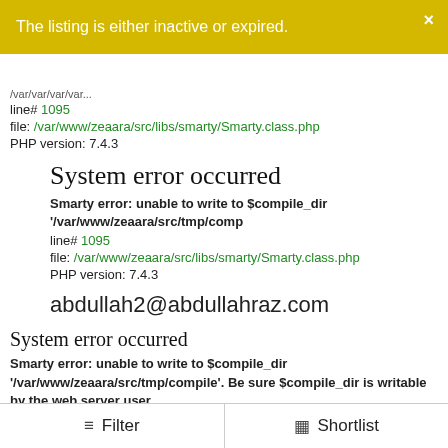The listing is either inactive or expired.
line# 1095
file: /var/www/zeaara/src/libs/smarty/Smarty.class.php
PHP version: 7.4.3
System error occurred
Smarty error: unable to write to $compile_dir '/var/www/zeaara/src/tmp/comp
line# 1095
file: /var/www/zeaara/src/libs/smarty/Smarty.class.php
PHP version: 7.4.3
abdullah2@abdullahraz.com
System error occurred
Smarty error: unable to write to $compile_dir '/var/www/zeaara/src/tmp/compile'. Be sure $compile_dir is writable by the web server user.
line# 1095
file: /var/www/zeaara/src/libs/smarty/Smarty.class.php
PHP version: 7.4.3
System error occurred
Smarty error: unable to write to $compile_dir '/var/www/zeaara/src/tmp/comp
Filter    Shortlist